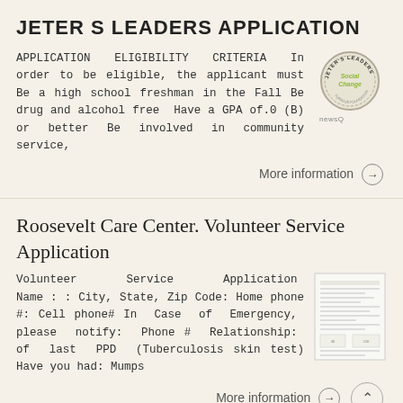JETER S LEADERS APPLICATION
APPLICATION ELIGIBILITY CRITERIA In order to be eligible, the applicant must Be a high school freshman in the Fall Be drug and alcohol free Have a GPA of.0 (B) or better Be involved in community service,
[Figure (logo): Jeter's Leaders circular logo with 'Jeter's Leaders' text and 'Social Change' in green, stamp-style]
More information →
Roosevelt Care Center. Volunteer Service Application
Volunteer Service Application Name : : City, State, Zip Code: Home phone #: Cell phone# In Case of Emergency, please notify: Phone # Relationship: of last PPD (Tuberculosis skin test) Have you had: Mumps
[Figure (screenshot): Thumbnail image of a volunteer service application form document]
More information →